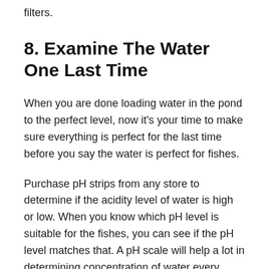filters.
8. Examine The Water One Last Time
When you are done loading water in the pond to the perfect level, now it’s your time to make sure everything is perfect for the last time before you say the water is perfect for fishes.
Purchase pH strips from any store to determine if the acidity level of water is high or low. When you know which pH level is suitable for the fishes, you can see if the pH level matches that. A pH scale will help a lot in determining concentration of water every time.